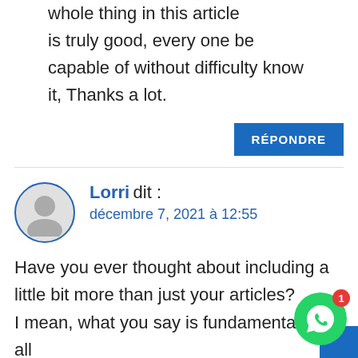whole thing in this article is truly good, every one be capable of without difficulty know it, Thanks a lot.
RÉPONDRE
Lorri dit :
décembre 7, 2021 à 12:55
Have you ever thought about including a little bit more than just your articles? I mean, what you say is fundamental and all